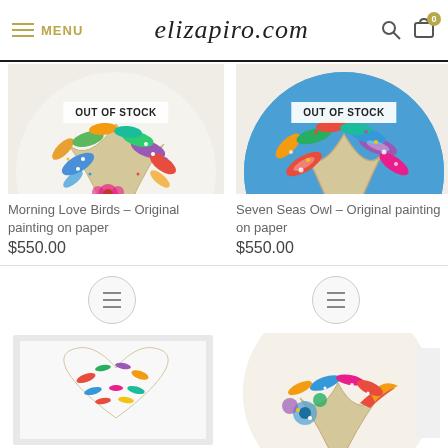elizapiro.com
[Figure (photo): Morning Love Birds original painting on paper – circular artwork with colorful mosaic leaf/bird patterns on white background, OUT OF STOCK overlay]
Morning Love Birds – Original painting on paper
$550.00
[Figure (photo): Seven Seas Owl original painting on paper – circular artwork with colorful mosaic leaf/bird patterns on blue background, OUT OF STOCK overlay]
Seven Seas Owl – Original painting on paper
$550.00
[Figure (photo): Framed artwork with heart made of colorful leaf patterns on white background, partially visible]
[Figure (photo): Circular artwork with colorful mosaic floral and bird patterns on light background, partially visible]